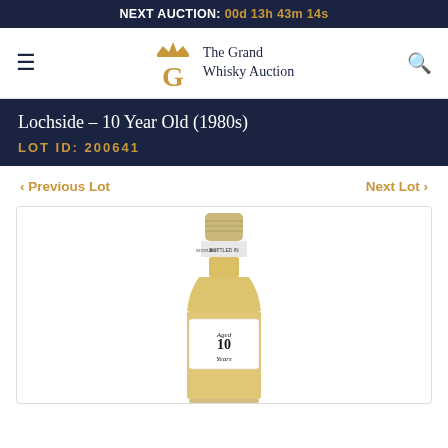NEXT AUCTION: 00d 13h 43m 14s
[Figure (logo): The Grand Whisky Auction logo with crown and stylized G]
Lochside - 10 Year Old (1980s)
LOT ID: 200641
< Previous Lot   Next Lot >
[Figure (photo): Bottle of Lochside 10 Year Old whisky from the 1980s with a tan capsule top and white label reading Aged 10 Years, amber/yellow liquid visible]